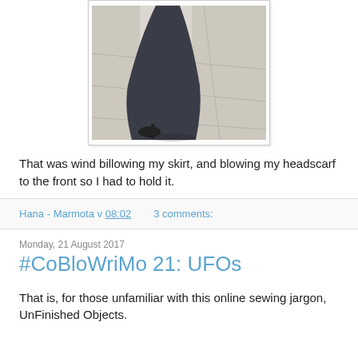[Figure (photo): Photo of person in dark skirt and heels near a stone column, wind blowing the skirt]
That was wind billowing my skirt, and blowing my headscarf to the front so I had to hold it.
Hana - Marmota v 08:02   3 comments:
Monday, 21 August 2017
#CoBloWriMo 21: UFOs
That is, for those unfamiliar with this online sewing jargon, UnFinished Objects.